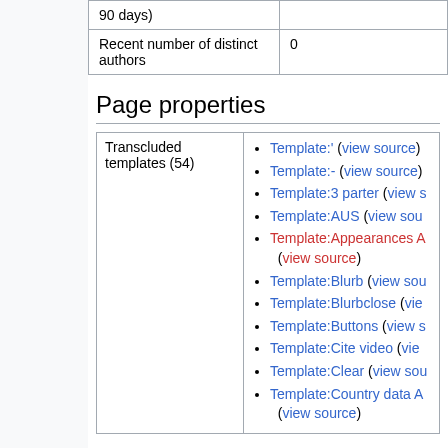| 90 days) |  |
| Recent number of distinct authors | 0 |
Page properties
| Transcluded templates (54) | Template:' (view source)
Template:- (view source)
Template:3 parter (view s…
Template:AUS (view sou…
Template:Appearances A… (view source)
Template:Blurb (view sou…
Template:Blurbclose (vie…
Template:Buttons (view s…
Template:Cite video (vie…
Template:Clear (view sou…
Template:Country data A… (view source) |